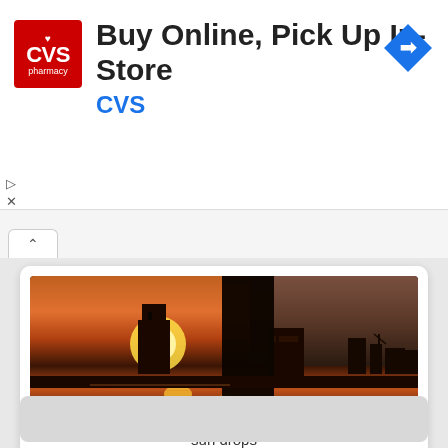[Figure (screenshot): CVS Pharmacy advertisement banner: red CVS pharmacy logo on the left, text 'Buy Online, Pick Up In-Store' in bold black and 'CVS' in blue, blue diamond navigation arrow icon on the right]
[Figure (photo): Sunset cityscape over water. Dark silhouetted buildings and skyscrapers against an orange-red sky with sun near the horizon. Foreground shows water reflection of the sun. A large dark vertical structure bisects the image. Caption reads 'sun drops'.]
sun drops